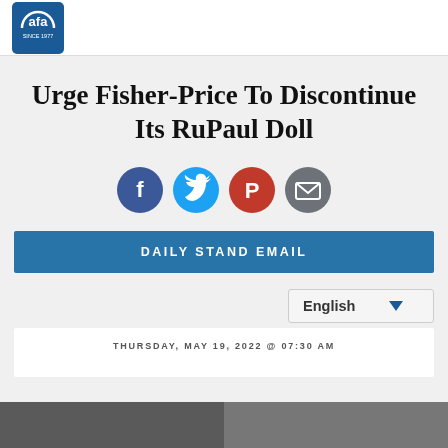AFA (American Family Association) website header with logo, menu and search icons
Urge Fisher-Price To Discontinue Its RuPaul Doll
[Figure (infographic): Social share icons: Facebook (blue circle), Twitter (light blue circle), Parler (red circle), Email (dark grey circle)]
DAILY STAND EMAIL
English
THURSDAY, MAY 19, 2022 @ 07:30 AM